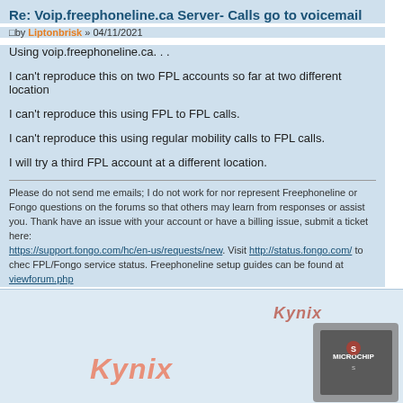Re: Voip.freephoneline.ca Server- Calls go to voicemail
by Liptonbrisk » 04/11/2021
Using voip.freephoneline.ca. . .
I can't reproduce this on two FPL accounts so far at two different location
I can't reproduce this using FPL to FPL calls.
I can't reproduce this using regular mobility calls to FPL calls.
I will try a third FPL account at a different location.
Please do not send me emails; I do not work for nor represent Freephoneline or Fongo questions on the forums so that others may learn from responses or assist you. Thank have an issue with your account or have a billing issue, submit a ticket here: https://support.fongo.com/hc/en-us/requests/new. Visit http://status.fongo.com/ to chec FPL/Fongo service status. Freephoneline setup guides can be found at viewforum.php
[Figure (logo): Kynix logo (large, italic, salmon color) and Microchip chip image advertisement]